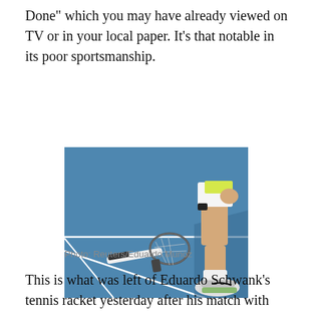Done" which you may have already viewed on TV or in your local paper. It's that notable in its poor sportsmanship.
[Figure (photo): A broken tennis racket lying on a blue hard court surface, with a tennis player's legs and Nike sneakers visible walking past it.]
Photo: Reuters/Eduardo Munoz
This is what was left of Eduardo Schwank's tennis racket yesterday after his match with Dmitry Tursunov of Russia